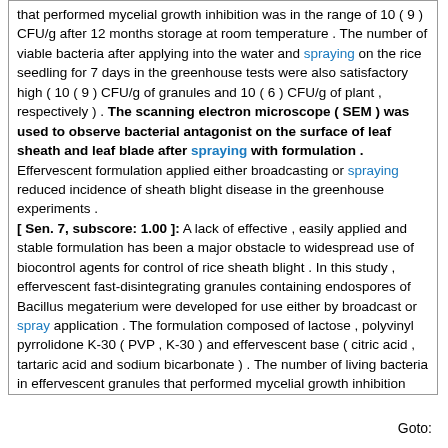that performed mycelial growth inhibition was in the range of 10 ( 9 ) CFU/g after 12 months storage at room temperature . The number of viable bacteria after applying into the water and spraying on the rice seedling for 7 days in the greenhouse tests were also satisfactory high ( 10 ( 9 ) CFU/g of granules and 10 ( 6 ) CFU/g of plant , respectively ) . The scanning electron microscope ( SEM ) was used to observe bacterial antagonist on the surface of leaf sheath and leaf blade after spraying with formulation . Effervescent formulation applied either broadcasting or spraying reduced incidence of sheath blight disease in the greenhouse experiments . [ Sen. 7, subscore: 1.00 ]: A lack of effective , easily applied and stable formulation has been a major obstacle to widespread use of biocontrol agents for control of rice sheath blight . In this study , effervescent fast-disintegrating granules containing endospores of Bacillus megaterium were developed for use either by broadcast or spray application . The formulation composed of lactose , polyvinyl pyrrolidone K-30 ( PVP , K-30 ) and effervescent base ( citric acid , tartaric acid and sodium bicarbonate ) . The number of living bacteria in effervescent granules that performed mycelial growth inhibition was in the range of 10 ( 9 ) CFU/g after 12 months storage at room temperature . The number of viable bacteria after applying into the water and spraying on the rice seedling for 7 days in the greenhouse tests were also satisfactory high ( 10 ( 9 ) CFU/g of granules and 10 ( 6 ) CFU/g of plant , respectively ) . The scanning electron microscope ( SEM ) was used to observe bacterial antagonist on the surface of leaf sheath and leaf blade after spraying with formulation . Effervescent formulation applied either broadcasting or spraying reduced incidence of sheath blight disease in the greenhouse experiments .
Goto: